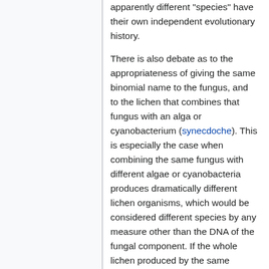apparently different "species" have their own independent evolutionary history.
There is also debate as to the appropriateness of giving the same binomial name to the fungus, and to the lichen that combines that fungus with an alga or cyanobacterium (synecdoche). This is especially the case when combining the same fungus with different algae or cyanobacteria produces dramatically different lichen organisms, which would be considered different species by any measure other than the DNA of the fungal component. If the whole lichen produced by the same fungus growing in association with different algae or cyanobacteria, were to be classified as different "species", the number of "lichen species" would be greater.